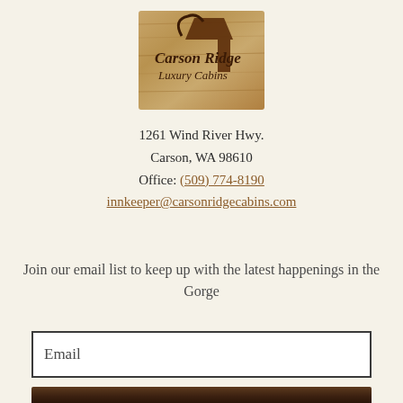[Figure (logo): Carson Ridge Luxury Cabins logo on a wood-grain textured background with a stylized roof/cabin icon and cursive-style text]
1261 Wind River Hwy.
Carson, WA 98610
Office: (509) 774-8190
innkeeper@carsonridgecabins.com
Join our email list to keep up with the latest happenings in the Gorge
Email
[Figure (photo): Dark wood texture or wooden surface visible at the bottom of the page]